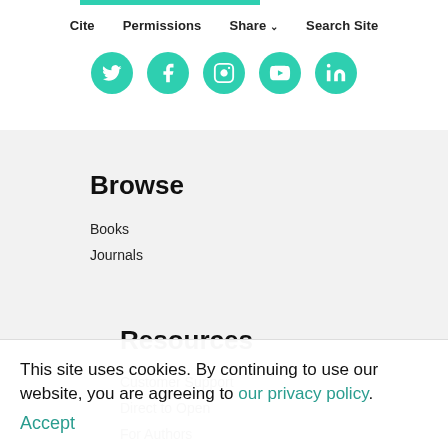Cite | Permissions | Share | Search Site
[Figure (illustration): Five teal circular social media icon buttons (Twitter, Facebook, Instagram, YouTube, LinkedIn)]
Browse
Books
Journals
Resources
Customer Support
Direct to Open
For Authors
For Librarians
Media Inquiries
FAQ
This site uses cookies. By continuing to use our website, you are agreeing to our privacy policy. Accept